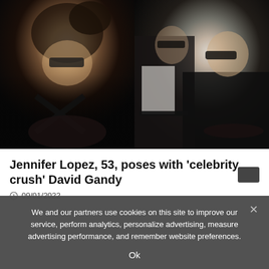[Figure (photo): Two fashion/celebrity photos side by side: left shows a woman with dark hair wearing black cross-strap lingerie and cat-eye glasses lying back; right shows a man in a dark suit behind a woman wearing glasses and a black blazer with lace bra visible]
Jennifer Lopez, 53, poses with 'celebrity crush' David Gandy
09/01/2022
We and our partners use cookies on this site to improve our service, perform analytics, personalize advertising, measure advertising performance, and remember website preferences.
Ok